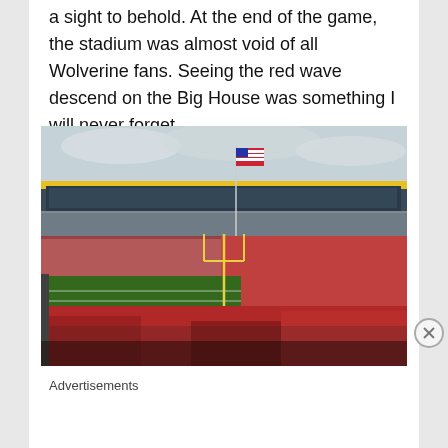a sight to behold. At the end of the game, the stadium was almost void of all Wolverine fans. Seeing the red wave descend on the Big House was something I will never forget.
[Figure (photo): A packed football stadium (Michigan's Big House) filled predominantly with red-clad fans, with a football field visible, goal posts, an American flag on a tall pole, and the stadium's blue upper deck visible in the background under a cloudy sky.]
Advertisements